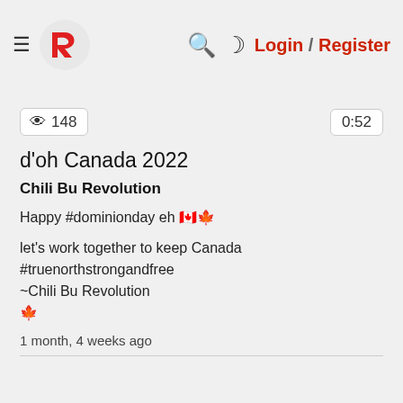Rumble logo navigation — Login / Register
148 views · 0:52
d'oh Canada 2022
Chili Bu Revolution
Happy #dominionday eh 🇨🇦🍁
let's work together to keep Canada #truenorthstrongandfree
~Chili Bu Revolution
🍁
1 month, 4 weeks ago